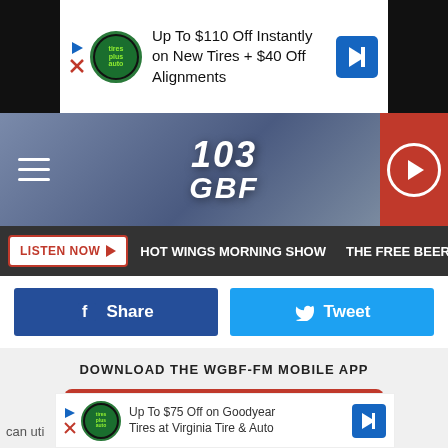[Figure (screenshot): Top ad banner: 'Up To $110 Off Instantly on New Tires + $40 Off Alignments' with Tires Plus Auto logo and blue arrow button]
[Figure (logo): 103 GBF radio station header with hamburger menu, station logo, and red play button]
LISTEN NOW  ▶  HOT WINGS MORNING SHOW  THE FREE BEER &AMP
[Figure (screenshot): Facebook Share button (blue) and Twitter Tweet button (cyan) side by side]
DOWNLOAD THE WGBF-FM MOBILE APP
GET OUR FREE MOBILE APP
Also listen on:  amazon alexa
can uti
[Figure (screenshot): Bottom ad banner: 'Up To $75 Off on Goodyear Tires at Virginia Tire & Auto' with logo and blue arrow button]